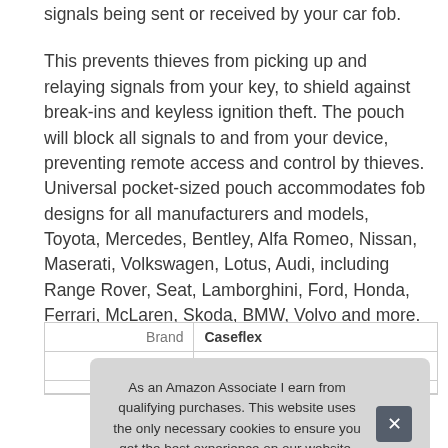signals being sent or received by your car fob.
This prevents thieves from picking up and relaying signals from your key, to shield against break-ins and keyless ignition theft. The pouch will block all signals to and from your device, preventing remote access and control by thieves. Universal pocket-sized pouch accommodates fob designs for all manufacturers and models, Toyota, Mercedes, Bentley, Alfa Romeo, Nissan, Maserati, Volkswagen, Lotus, Audi, including Range Rover, Seat, Lamborghini, Ford, Honda, Ferrari, McLaren, Skoda, BMW, Volvo and more.
| Brand |  |
| --- | --- |
| Brand | Caseflex |
| Ma |  |
|  |  |
As an Amazon Associate I earn from qualifying purchases. This website uses the only necessary cookies to ensure you get the best experience on our website. More information